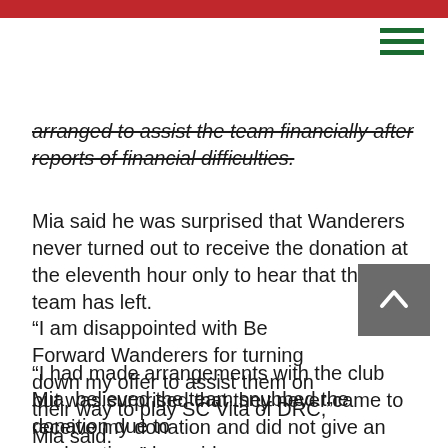arranged to assist the team financially after reports of financial difficulties.
Mia said he was surprised that Wanderers never turned out to receive the donation at the eleventh hour only to hear that the team has left.
“I am disappointed with Be Forward Wanderers for turning down my offer to assist them on their way to play SC Vita of DRC,” Mia said.
“I had made arrangements with the club but was surprised that they never came to receive my donation and did not give an explanation,” he said.
Mia  believed the team snubbed the donation due to